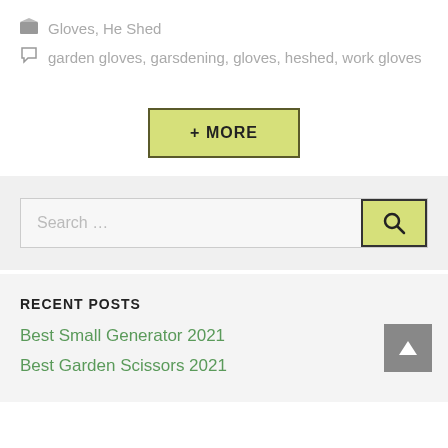🗂 Gloves, He Shed
🏷 garden gloves, garsdening, gloves, heshed, work gloves
[Figure (other): + MORE button with yellow-green background and dark border]
[Figure (other): Search bar with search icon button]
RECENT POSTS
Best Small Generator 2021
Best Garden Scissors 2021